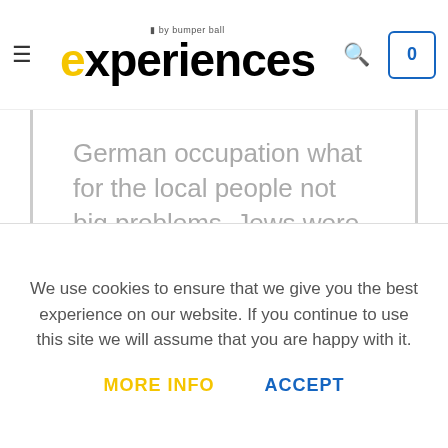experiences by bumper ball
German occupation what for the local people not big problems. Jews were gathered in ghettos and used as cheap labor, to be exterminated a few years later in the camps in Auschwitz and Birkenau. Schindler mainly produced dishes, but also small military equipment for the German army. Al-though he was on the side of the occupant, but he didn't
We use cookies to ensure that we give you the best experience on our website. If you continue to use this site we will assume that you are happy with it.
MORE INFO   ACCEPT